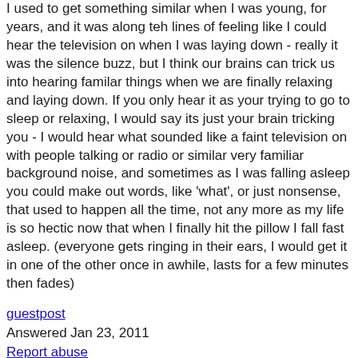I used to get something similar when I was young, for years, and it was along teh lines of feeling like I could hear the television on when I was laying down - really it was the silence buzz, but I think our brains can trick us into hearing familar things when we are finally relaxing and laying down. If you only hear it as your trying to go to sleep or relaxing, I would say its just your brain tricking you - I would hear what sounded like a faint television on with people talking or radio or similar very familiar background noise, and sometimes as I was falling asleep you could make out words, like 'what', or just nonsense, that used to happen all the time, not any more as my life is so hectic now that when I finally hit the pillow I fall fast asleep. (everyone gets ringing in their ears, I would get it in one of the other once in awhile, lasts for a few minutes then fades)
guestpost
Answered Jan 23, 2011
Report abuse
0
Add comment
The Denoc is one of the best hearing aid centre in chennai. They deliver the products to the customers on time without delay.
visit:https://www.denochearing.com/micro-hearing-aid/
denochearingaid